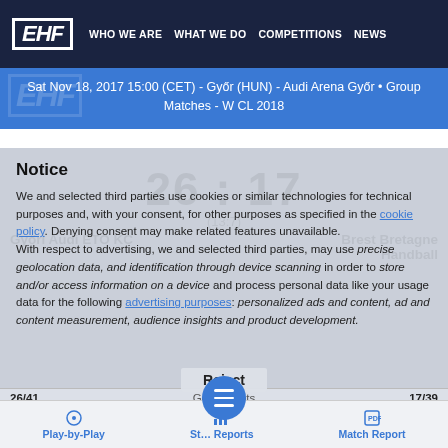EHF | WHO WE ARE | WHAT WE DO | COMPETITIONS | NEWS
Sat Nov 18, 2017 15:00 (CET) - Győr (HUN) - Audi Arena Győr • Group Matches - W CL 2018
26 : 17
(13:7)
Győri Audi ETO KC   Brest Bretagne Handball
Notice
We and selected third parties use cookies or similar technologies for technical purposes and, with your consent, for other purposes as specified in the cookie policy. Denying consent may make related features unavailable.
With respect to advertising, we and selected third parties, may use precise geolocation data, and identification through device scanning in order to store and/or access information on a device and process personal data like your usage data for the following advertising purposes: personalized ads and content, ad and content measurement, audience insights and product development.
| Home | Stat | Away |
| --- | --- | --- |
| 26/41 | Goals/Shots | 17/39 |
| 2/4 | Penalty Shots | 3/3 |
| 2 | Yellow Cards | 2 |
| 1 | 2 Minutes | 2 |
| 0 | Red Cards | 0 |
Play-by-Play | Statistics Reports | Match Report